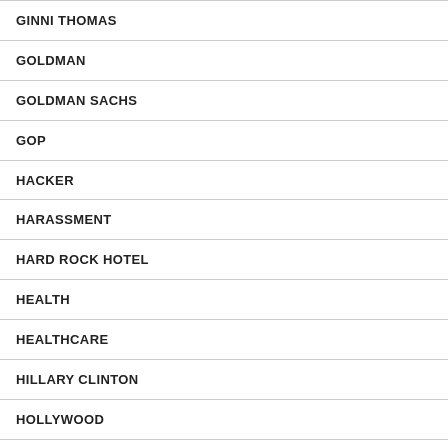GINNI THOMAS
GOLDMAN
GOLDMAN SACHS
GOP
HACKER
HARASSMENT
HARD ROCK HOTEL
HEALTH
HEALTHCARE
HILLARY CLINTON
HOLLYWOOD
HOME INTERIORS